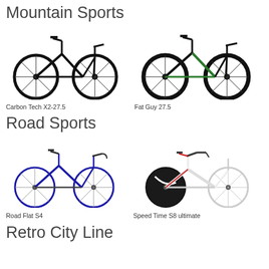Mountain Sports
[Figure (photo): Black mountain bike - Carbon Tech X2-27.5]
Carbon Tech X2-27.5
[Figure (photo): Black and green mountain bike - Fat Guy 27.5]
Fat Guy 27.5
Road Sports
[Figure (photo): Blue road bike - Road Flat S4]
Road Flat S4
[Figure (photo): White and black time trial bike - Speed Time S8 ultimate]
Speed Time S8 ultimate
Retro City Line